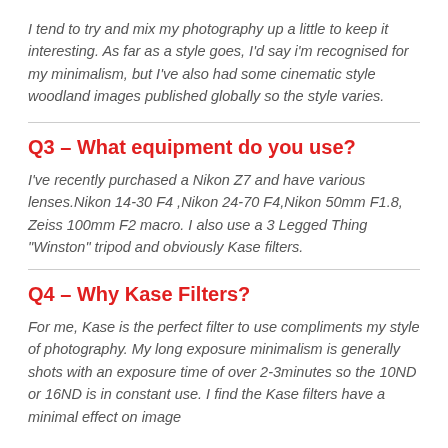I tend to try and mix my photography up a little to keep it interesting. As far as a style goes, I'd say i'm recognised for my minimalism, but I've also had some cinematic style woodland images published globally so the style varies.
Q3 – What equipment do you use?
I've recently purchased a Nikon Z7 and have various lenses.Nikon 14-30 F4 ,Nikon 24-70 F4,Nikon 50mm F1.8, Zeiss 100mm F2 macro. I also use a 3 Legged Thing "Winston" tripod and obviously Kase filters.
Q4 – Why Kase Filters?
For me, Kase is the perfect filter to use compliments my style of photography. My long exposure minimalism is generally shots with an exposure time of over 2-3minutes so the 10ND or 16ND is in constant use. I find the Kase filters have a minimal effect on image